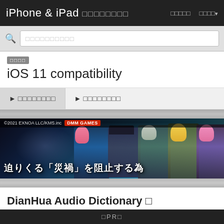iPhone & iPad □□□□□□□□　□□□□□　□□□□▾
□□□□□□□□□□
□□□□
iOS 11 compatibility
►□□□□□□□□
►□□□□□□□□
[Figure (illustration): Anime game advertisement banner for DMM GAMES by EXNOA LLC/KMS.inc, showing ©2021 EXNOA LLC/KMS.inc text and DMM GAMES badge at top, anime characters on right side, and Japanese text overlay reading 迫りくる「災禍」を阻止する為]
DianHua Audio Dictionary □
□□□□□□□□　　□□□□□□□□□□□□□□□□□
□PR□